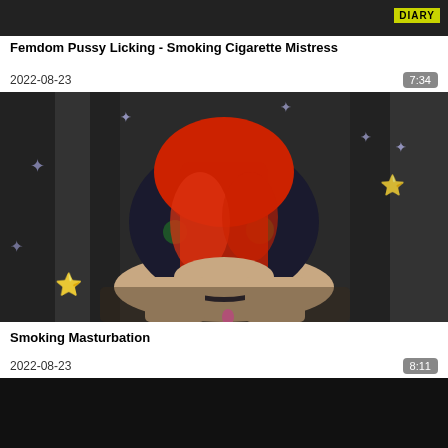[Figure (screenshot): Top portion of a video thumbnail, dark background]
Femdom Pussy Licking - Smoking Cigarette Mistress
2022-08-23    7:34
[Figure (screenshot): Video thumbnail showing a person in a floral dress with red scarf covering face, seated against black backdrop with star decorations]
Smoking Masturbation
2022-08-23    8:11